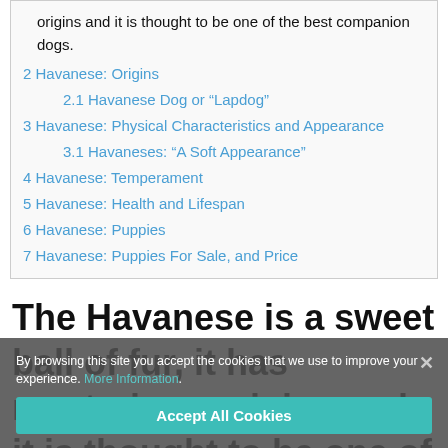origins and it is thought to be one of the best companion dogs.
2 Havanese: Origins
2.1 Havanese Dog or “Lapdog”
3 Havanese: Physical Characteristics and Appearance
3.1 Havaneses: “A Soft Appearance”
4 Havanese: Temperament
5 Havanese: Health and Lifespan
6 Havanese: Puppies
7 Havanese: Puppies For Sale, and Price
The Havanese is a sweet ball of fur, it has mysterious origins and it is thought to be one of the best companion dogs.
By browsing this site you accept the cookies that we use to improve your experience. More Information. Accept All Cookies.